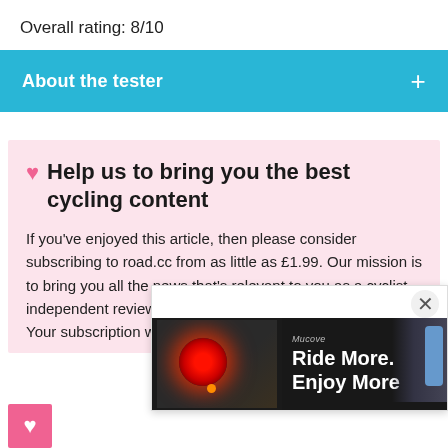Overall rating: 8/10
About the tester +
♥ Help us to bring you the best cycling content
If you've enjoyed this article, then please consider subscribing to road.cc from as little as £1.99. Our mission is to bring you all the news that's relevant to you as a cyclist, independent reviews, impartial buying advice and more. Your subscription will help us to more
[Figure (screenshot): Advertisement banner showing a red cycling light product with text 'Ride More. Enjoy More' with a brand logo above it, and an X close button.]